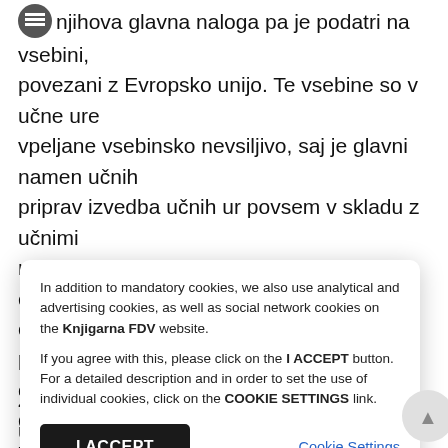njihova glavna naloga pa je podatri na vsebini, povezani z Evropsko unijo. Te vsebine so v učne ure vpeljane vsebinsko nevsiljivo, saj je glavni namen učnih priprav izvedba učnih ur povsem v skladu z učnimi načrti predmetov in njihovimi operativnimi cilji; vsebine o Evropski uniji so uporabljene v nekaj primerih kot osrednje, v nekaj pa kot kontekst za doseganje drugih, za predmet bistvenih ciljev. Učne ure so pripravneje za
[Figure (screenshot): Cookie consent dialog overlay on a webpage. The dialog contains text about mandatory, analytical, advertising, and social network cookies on the Knjigarna FDV website. Includes an 'I ACCEPT' button and a 'Cookie Settings' link.]
Zgodovina 2 učni uri za 9. razred). Tri učne ure za